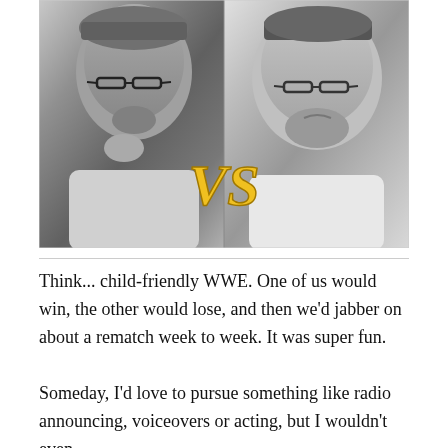[Figure (photo): Two black-and-white photos side by side of two men with beards and glasses, with a golden italic 'VS' overlaid in the center between them, styled like a wrestling matchup image.]
Think... child-friendly WWE. One of us would win, the other would lose, and then we'd jabber on about a rematch week to week. It was super fun.
Someday, I'd love to pursue something like radio announcing, voiceovers or acting, but I wouldn't even